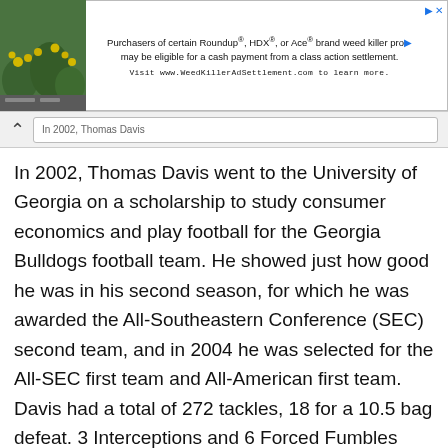[Figure (screenshot): Advertisement banner for WeedKillerAdSettlement.com with a nature photo on the left and text about Roundup, HDX, or Ace brand weed killer class action settlement.]
In 2002, Thomas Davis went to the University of Georgia on a scholarship to study consumer economics and play football for the Georgia Bulldogs football team. He showed just how good he was in his second season, for which he was awarded the All-Southeastern Conference (SEC) second team, and in 2004 he was selected for the All-SEC first team and All-American first team. Davis had a total of 272 tackles, 18 for a 10.5 bag defeat. 3 Interceptions and 6 Forced Fumbles with 9 Fumble Recoveries.
ALSO READ: Who is Violetta Komyshan, Ansel...